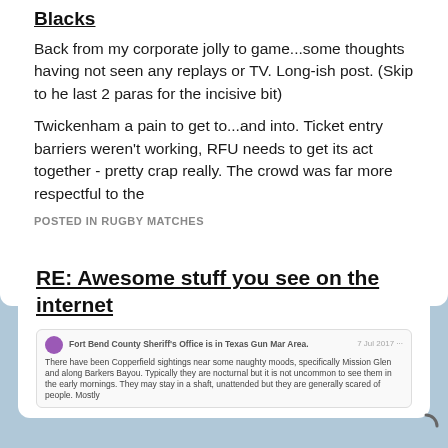Blacks
Back from my corporate jolly to game...some thoughts having not seen any replays or TV. Long-ish post. (Skip to he last 2 paras for the incisive bit)
Twickenham a pain to get to...and into. Ticket entry barriers weren't working, RFU needs to get its act together - pretty crap really. The crowd was far more respectful to the
POSTED IN RUGBY MATCHES
VICTOR MELDREW
NOV 11, 2018, 12:45 AM
RE: Awesome stuff you see on the internet
[Figure (screenshot): Embedded social media post from Fort Bend County Sheriff's Office with purple icon, dated 7 Jul 2017, containing text about Copperfield, Mission Glen and Barkers Bayou areas.]